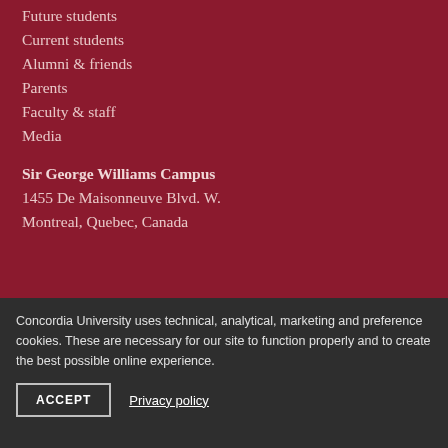Future students
Current students
Alumni & friends
Parents
Faculty & staff
Media
Sir George Williams Campus
1455 De Maisonneuve Blvd. W.
Montreal, Quebec, Canada
Concordia University uses technical, analytical, marketing and preference cookies. These are necessary for our site to function properly and to create the best possible online experience.
ACCEPT
Privacy policy